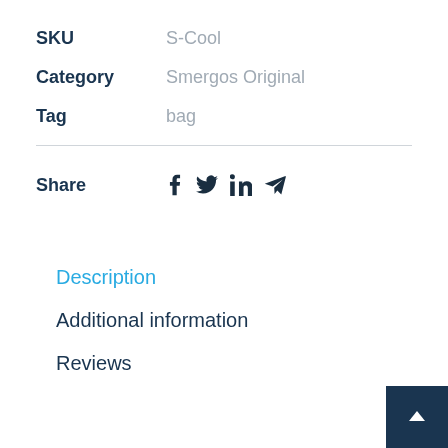SKU: S-Cool
Category: Smergos Original
Tag: bag
Share
Description
Additional information
Reviews